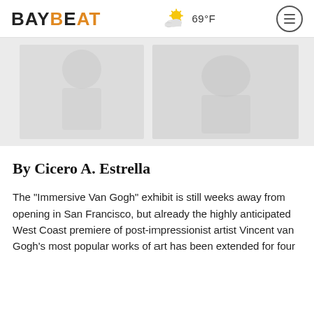BAYBEAT  69°F
[Figure (photo): Article hero image, partially visible, appearing to show two images side by side in muted tones on a light grey background]
By Cicero A. Estrella
The "Immersive Van Gogh" exhibit is still weeks away from opening in San Francisco, but already the highly anticipated West Coast premiere of post-impressionist artist Vincent van Gogh's most popular works of art has been extended for four